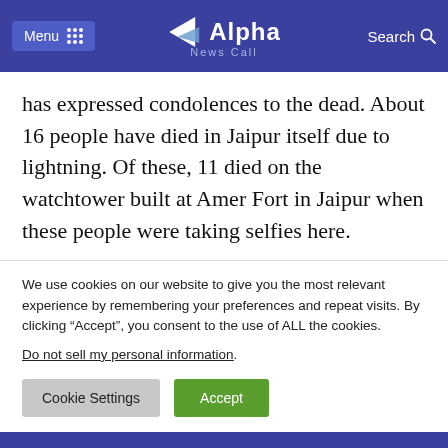Menu  Alpha News Call  Search
has expressed condolences to the dead. About 16 people have died in Jaipur itself due to lightning. Of these, 11 died on the watchtower built at Amer Fort in Jaipur when these people were taking selfies here.
We use cookies on our website to give you the most relevant experience by remembering your preferences and repeat visits. By clicking “Accept”, you consent to the use of ALL the cookies.
Do not sell my personal information.